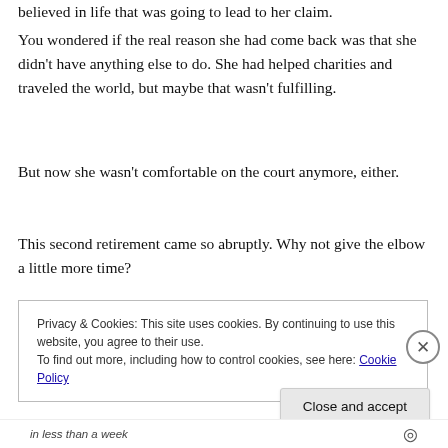believed in life that was going to lead to her claim.
You wondered if the real reason she had come back was that she didn’t have anything else to do. She had helped charities and traveled the world, but maybe that wasn’t fulfilling.
But now she wasn’t comfortable on the court anymore, either.
This second retirement came so abruptly. Why not give the elbow a little more time?
Privacy & Cookies: This site uses cookies. By continuing to use this website, you agree to their use.
To find out more, including how to control cookies, see here: Cookie Policy
Close and accept
in less than a week